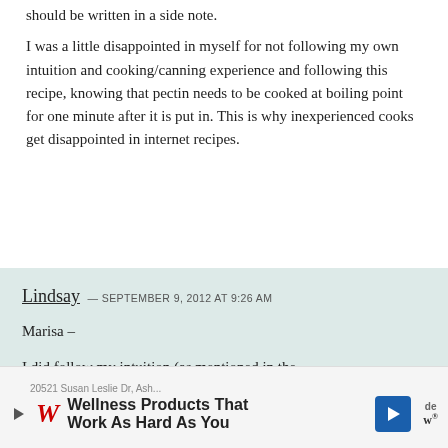should be written in a side note.

I was a little disappointed in myself for not following my own intuition and cooking/canning experience and following this recipe, knowing that pectin needs to be cooked at boiling point for one minute after it is put in. This is why inexperienced cooks get disappointed in internet recipes.
Lindsay — SEPTEMBER 9, 2012 at 9:26 AM

Marisa –

I did follow my intuition (as mentioned in the
[Figure (screenshot): Advertisement banner for Walgreens Wellness Products That Work As Hard As You]